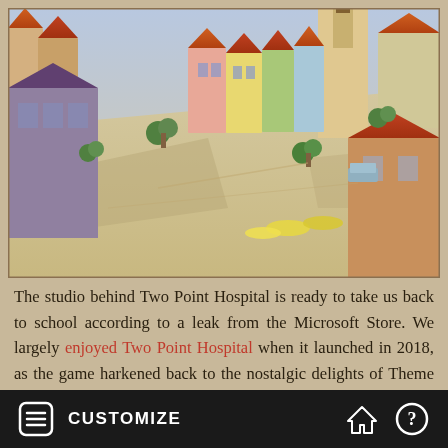[Figure (screenshot): Aerial/isometric view of a colorful European-style town square from a video game (Two Point Campus), with buildings with orange and red rooftops, a plaza, trees, and people.]
The studio behind Two Point Hospital is ready to take us back to school according to a leak from the Microsoft Store. We largely enjoyed Two Point Hospital when it launched in 2018, as the game harkened back to the nostalgic delights of Theme Hospital, so when the Microsoft Store leaked that Two Point Studios is gearing up to announce a university management game, I was
CUSTOMIZE